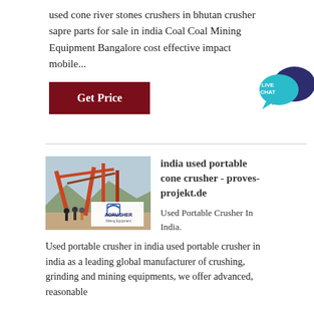used cone river stones crushers in bhutan crusher sapre parts for sale in india Coal Coal Mining Equipment Bangalore cost effective impact mobile...
[Figure (illustration): Live Chat speech bubble icon in teal with dark blue larger bubble behind it, text LIVE CHAT]
Get Price
[Figure (photo): Industrial crusher/mining equipment site with large orange metal framework conveyors, mountains in background, workers in foreground, ACRUSHER Mining Equipment logo overlay]
india used portable cone crusher - proves-projekt.de
Used Portable Crusher In India.
Used portable crusher in india used portable crusher in india as a leading global manufacturer of crushing, grinding and mining equipments, we offer advanced, reasonable